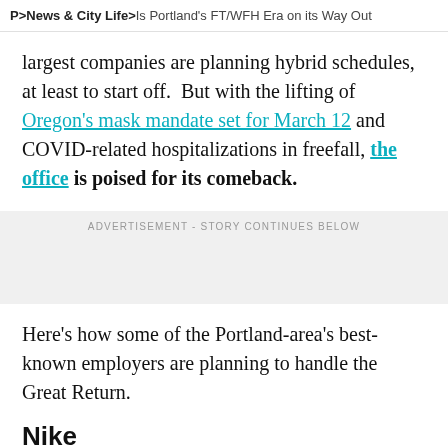P > News & City Life > Is Portland's FT/WFH Era on its Way Out
largest companies are planning hybrid schedules, at least to start off.  But with the lifting of Oregon's mask mandate set for March 12 and COVID-related hospitalizations in freefall, the office is poised for its comeback.
ADVERTISEMENT - STORY CONTINUES BELOW
Here's how some of the Portland-area's best-known employers are planning to handle the Great Return.
Nike